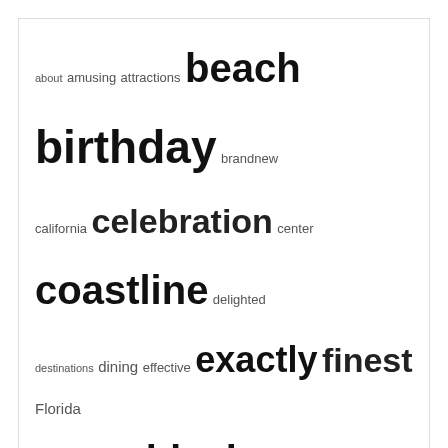[Figure (other): Tag cloud containing words of varying sizes representing website topics: about, amusing, attractions, beach, birthday, brandnew, california, celebration, center, coastline, delighted, destinations, dining, effective, exactly, finest, Florida, guide, happy, Hotel, ideal, ideas, island, leading, messages, minecraft, national, online, parks, pizza, pleased, points, prices, quotes, resort, restaurant, satisfied, shopping, state, states, suggestions, things, united, valley, wishes]
You may Missed
UNCATEGORIZED
40+ Sunflower Quotes And Also Phrases To Bring Happiness
November 23, 2021 / Daily Paper